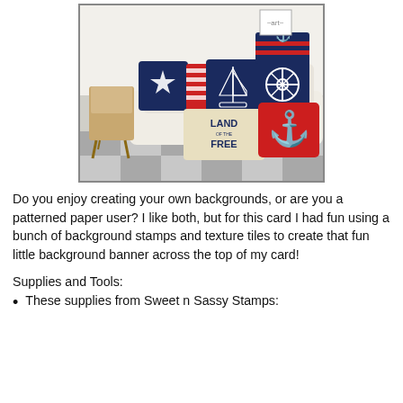[Figure (photo): A couch decorated with various nautical-themed throw pillows including anchors, a sailboat, a ship's wheel, starfish, stripes, and 'Land of the Free' text. A wooden chair is visible to the left. The scene has a navy, red, and cream color scheme.]
Do you enjoy creating your own backgrounds, or are you a patterned paper user? I like both, but for this card I had fun using a bunch of background stamps and texture tiles to create that fun little background banner across the top of my card!
Supplies and Tools:
These supplies from Sweet n Sassy Stamps: